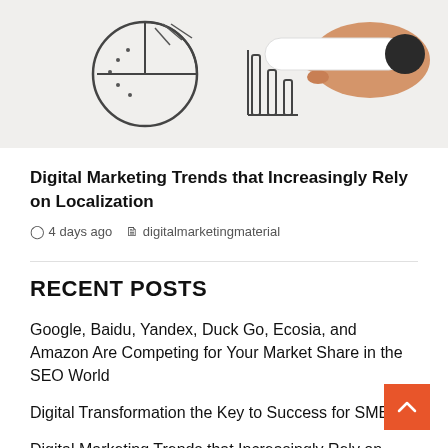[Figure (photo): Photo showing hand drawing a pie chart with a marker, along with other marketing-related icons sketched on paper.]
Digital Marketing Trends that Increasingly Rely on Localization
4 days ago   digitalmarketingmaterial
RECENT POSTS
Google, Baidu, Yandex, Duck Go, Ecosia, and Amazon Are Competing for Your Market Share in the SEO World
Digital Transformation the Key to Success for SMEs
Digital Marketing Trends that Increasingly Rely on Localization
How Digital Marketing Is Making An Impact On Top